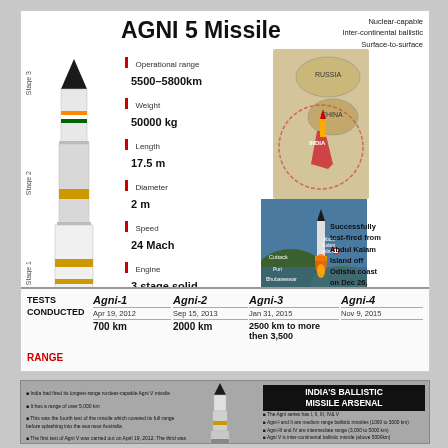[Figure (infographic): Agni 5 Missile infographic showing missile diagram with Stage 1, Stage 2, Stage 3 labels, specifications (range 5500-5800km, weight 50000kg, length 17.5m, diameter 2m, speed 2.4 Mach, engine 3 stage solid, warhead Nuclear weight 1500kg), map showing range over Russia and China, launch photo near Abdul Kalam Island, and tests conducted table for Agni-1 through Agni-4]
[Figure (infographic): India's Ballistic Missile Arsenal infographic with bullet points about Agni V, India's ballistic missile series, and The Prithvi Series]